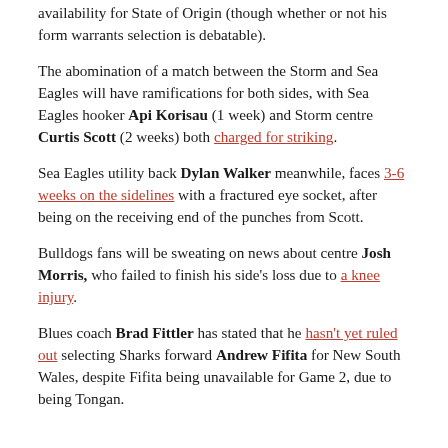availability for State of Origin (though whether or not his form warrants selection is debatable).
The abomination of a match between the Storm and Sea Eagles will have ramifications for both sides, with Sea Eagles hooker Api Korisau (1 week) and Storm centre Curtis Scott (2 weeks) both charged for striking.
Sea Eagles utility back Dylan Walker meanwhile, faces 3-6 weeks on the sidelines with a fractured eye socket, after being on the receiving end of the punches from Scott.
Bulldogs fans will be sweating on news about centre Josh Morris, who failed to finish his side's loss due to a knee injury.
Blues coach Brad Fittler has stated that he hasn't yet ruled out selecting Sharks forward Andrew Fifita for New South Wales, despite Fifita being unavailable for Game 2, due to being Tongan.